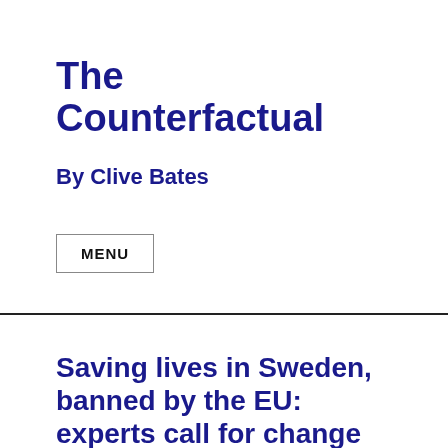The Counterfactual
By Clive Bates
MENU
Saving lives in Sweden, banned by the EU: experts call for change to smokeless tobacco policy
[Figure (bar-chart): Source: Eurobarometer 2022. Bar chart showing smoking prevalence across EU countries.]
[Figure (bar-chart): Source: International Agency for Research on Cancer. Bar chart showing lung cancer mortality rates.]